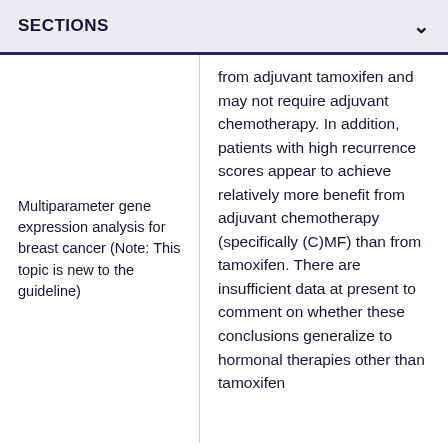SECTIONS
Multiparameter gene expression analysis for breast cancer (Note: This topic is new to the guideline)
from adjuvant tamoxifen and may not require adjuvant chemotherapy. In addition, patients with high recurrence scores appear to achieve relatively more benefit from adjuvant chemotherapy (specifically (C)MF) than from tamoxifen. There are insufficient data at present to comment on whether these conclusions generalize to hormonal therapies other than tamoxifen